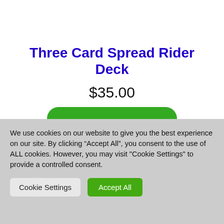Three Card Spread Rider Deck
$35.00
[Figure (other): Green rounded rectangle button, partially visible (add to cart button)]
We use cookies on our website to give you the best experience on our site. By clicking “Accept All”, you consent to the use of ALL cookies. However, you may visit "Cookie Settings" to provide a controlled consent.
Cookie Settings
Accept All